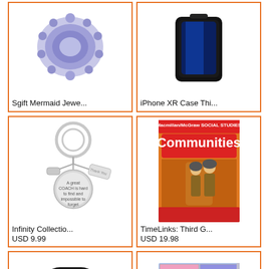[Figure (photo): Sgift Mermaid jewelry product - blue/purple decorative item]
Sgift Mermaid Jewe...
[Figure (photo): iPhone XR Case - black phone case with blue accent]
iPhone XR Case Thi...
[Figure (photo): Infinity Collection keychain with coach charm and thank you tag]
Infinity Collectio...
USD 9.99
[Figure (photo): TimeLinks Third Grade Communities book cover with firefighters]
TimeLinks: Third G...
USD 19.98
[Figure (photo): Black pulse oximeter device showing 87 and 98 readings]
[Figure (photo): Colorful dollhouse with multiple rooms and furniture]